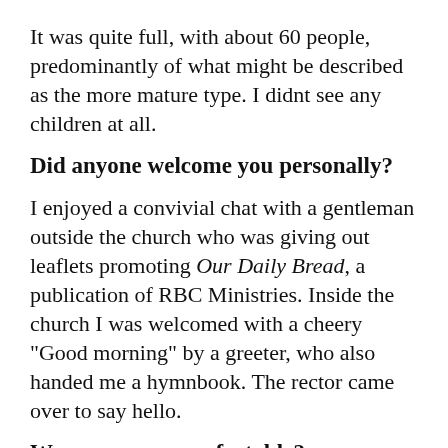It was quite full, with about 60 people, predominantly of what might be described as the more mature type. I didnt see any children at all.
Did anyone welcome you personally?
I enjoyed a convivial chat with a gentleman outside the church who was giving out leaflets promoting Our Daily Bread, a publication of RBC Ministries. Inside the church I was welcomed with a cheery "Good morning" by a greeter, who also handed me a hymnbook. The rector came over to say hello.
Was your pew comfortable?
It was about as comfortable as you could expect a wooden pew to be. There was a cushion along the length of the pew, and the hassock was a deep